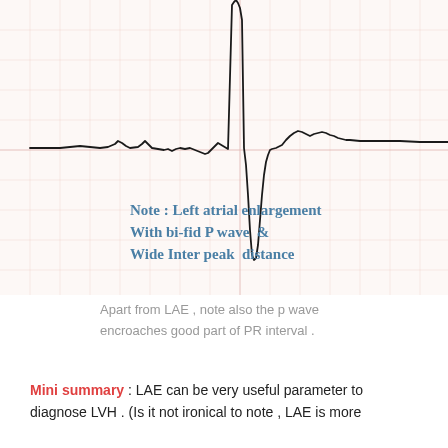[Figure (continuous-plot): ECG tracing on grid paper showing a single QRS complex with a tall narrow spike, preceded by a bifid P wave with wide inter-peak distance, and followed by a T wave. The baseline is relatively flat with small undulations. Standard ECG grid lines visible.]
Note : Left atrial enlargement
With bi-fid P wave  &
Wide Inter peak  distance
Apart from LAE , note also the p wave encroaches good part of PR interval .
Mini summary : LAE can be very useful parameter to diagnose LVH . (Is it not ironical to note , LAE is more